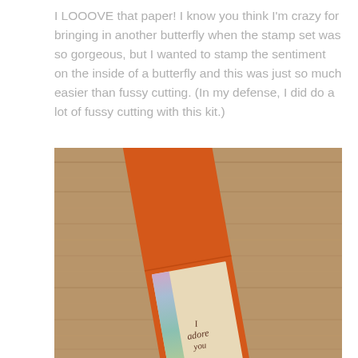I LOOOVE that paper! I know you think I'm crazy for bringing in another butterfly when the stamp set was so gorgeous, but I wanted to stamp the sentiment on the inside of a butterfly and this was just so much easier than fussy cutting. (In my defense, I did do a lot of fussy cutting with this kit.)
[Figure (photo): A handmade greeting card photographed at an angle on a wooden surface. The card has an orange cardstock base with a cream/kraft panel on the lower half. A vertical rainbow gradient stripe runs along the left side of the cream panel. Cursive text on the card reads 'I adore you'.]